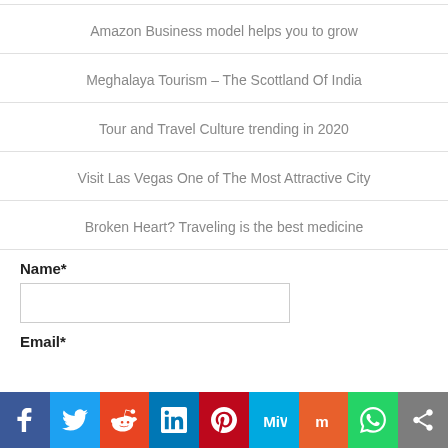Amazon Business model helps you to grow
Meghalaya Tourism – The Scottland Of India
Tour and Travel Culture trending in 2020
Visit Las Vegas One of The Most Attractive City
Broken Heart? Traveling is the best medicine
Name*
Email*